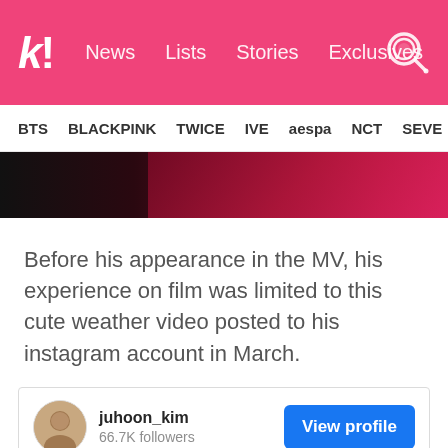k! News Lists Stories Exclusives
BTS BLACKPINK TWICE IVE aespa NCT SEVE
[Figure (photo): Dark reddish image strip, partial photo of person or scene with deep red/maroon tones]
Before his appearance in the MV, his experience on film was limited to this cute weather video posted to his instagram account in March.
[Figure (screenshot): Instagram embed card showing user juhoon_kim with 66.7K followers, View profile button, and a blue sky image preview below]